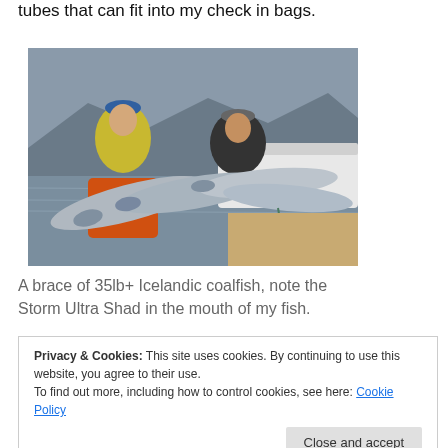tubes that can fit into my check in bags.
[Figure (photo): Two men on a fishing boat holding up four large silver coalfish (saithe). The man on the left wears a blue cap and yellow/blue jacket; the man on the right wears a grey cap and black shirt with orange jacket. Misty mountains and grey water visible in background.]
A brace of 35lb+ Icelandic coalfish, note the Storm Ultra Shad in the mouth of my fish.
Privacy & Cookies: This site uses cookies. By continuing to use this website, you agree to their use.
To find out more, including how to control cookies, see here: Cookie Policy
that these rods are strong enough to handle big cod or